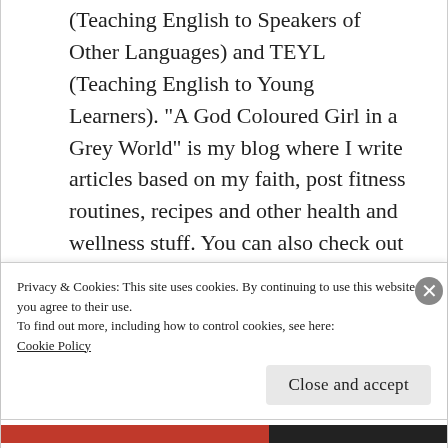(Teaching English to Speakers of Other Languages) and TEYL (Teaching English to Young Learners). "A God Coloured Girl in a Grey World" is my blog where I write articles based on my faith, post fitness routines, recipes and other health and wellness stuff. You can also check out a bit of my music at www.myspace.com/stacilys
Privacy & Cookies: This site uses cookies. By continuing to use this website, you agree to their use.
To find out more, including how to control cookies, see here:
Cookie Policy